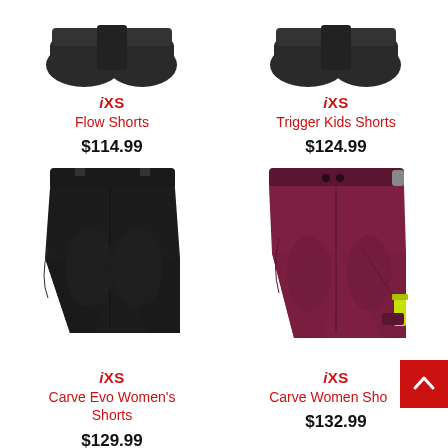[Figure (photo): iXS Flow Shorts product image - black shorts folded]
iXS
Flow Shorts
$114.99
[Figure (photo): iXS Trigger Kids Shorts product image - black shorts folded]
iXS
Trigger Kids Shorts
$124.99
[Figure (photo): iXS Carve Evo Women's Shorts product image - black shorts]
iXS
Carve Evo Women's Shorts
$129.99
[Figure (photo): iXS Carve Women Shorts product image - burgundy/maroon shorts]
iXS
Carve Women Sho...
$132.99